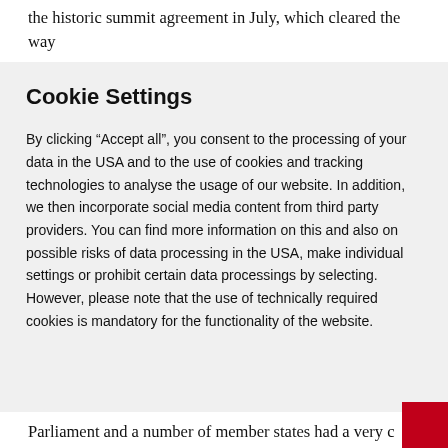the historic summit agreement in July, which cleared the way
Cookie Settings
By clicking “Accept all”, you consent to the processing of your data in the USA and to the use of cookies and tracking technologies to analyse the usage of our website. In addition, we then incorporate social media content from third party providers. You can find more information on this and also on possible risks of data processing in the USA, make individual settings or prohibit certain data processings by selecting. However, please note that the use of technically required cookies is mandatory for the functionality of the website.
Parliament and a number of member states had a very c